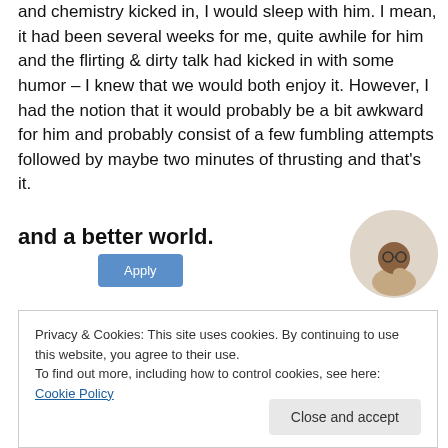and chemistry kicked in, I would sleep with him. I mean, it had been several weeks for me, quite awhile for him and the flirting & dirty talk had kicked in with some humor – I knew that we would both enjoy it. However, I had the notion that it would probably be a bit awkward for him and probably consist of a few fumbling attempts followed by maybe two minutes of thrusting and that's it.
[Figure (infographic): Advertisement banner with bold text 'and a better world.' and a blue Apply button, with a circular photo of a man on the right]
Privacy & Cookies: This site uses cookies. By continuing to use this website, you agree to their use.
To find out more, including how to control cookies, see here: Cookie Policy